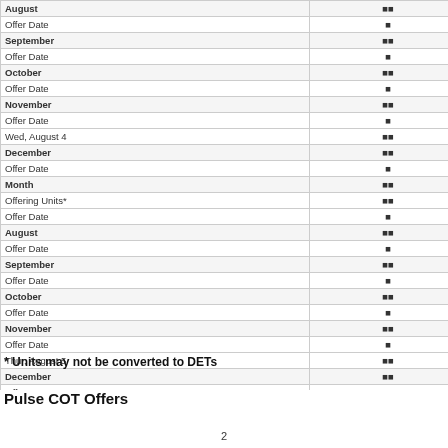| Month / Date / Category |  |
| --- | --- |
| August |  |
| Offer Date |  |
| September |  |
| Offer Date |  |
| October |  |
| Offer Date |  |
| November |  |
| Offer Date |  |
| Wed, August 4 |  |
| December |  |
| Offer Date |  |
| Month |  |
| Offering Units* |  |
| Offer Date |  |
| August |  |
| Offer Date |  |
| September |  |
| Offer Date |  |
| October |  |
| Offer Date |  |
| November |  |
| Offer Date |  |
| Thur, August 5 |  |
| December |  |
| Offer Date |  |
| Month* |  |
| Offering Singles |  |
| Offer Date |  |
| August |  |
| Offer Date |  |
| September |  |
| Offer Date |  |
| October |  |
| Offer Date |  |
| November |  |
| Offer Date |  |
| Thur, August 5 |  |
| December |  |
| Offer Date |  |
| Month* |  |
| Offering Singles |  |
| Offer Date |  |
| August |  |
| Offer Date |  |
| September |  |
| Offer Date |  |
| October |  |
| November |  |
| December |  |
* Units may not be converted to DETs
Pulse COT Offers
2